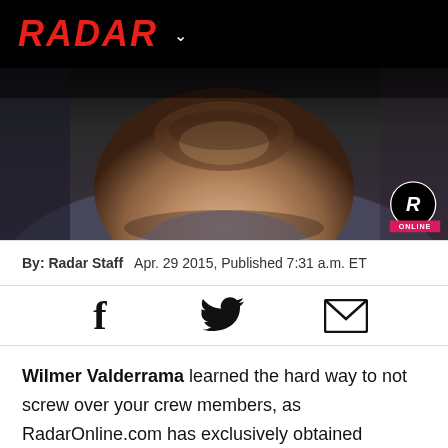RADAR
[Figure (photo): Close-up photo of a man's neck and lower face with stubble beard, wearing a gray t-shirt. Radar Online watermark badge in bottom right corner.]
By: Radar Staff   Apr. 29 2015, Published 7:31 a.m. ET
[Figure (infographic): Social share icons: Facebook (f), Twitter (bird), Email (envelope)]
Wilmer Valderrama learned the hard way to not screw over your crew members, as RadarOnline.com has exclusively obtained